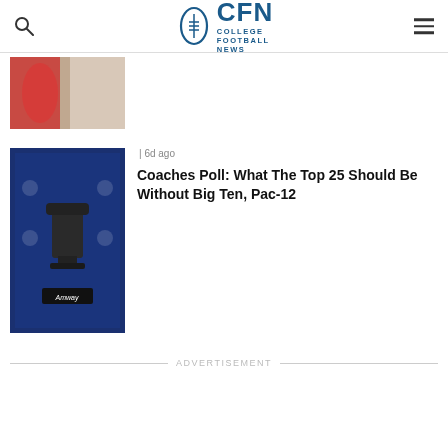CFN College Football News
[Figure (photo): Partially visible photo thumbnail at top, showing what appears to be a football game scene with red and white colors]
1 6d ago
[Figure (photo): Photo of a Coaches Poll trophy with 'Amway' branding on a blue press conference backdrop with football logos]
Coaches Poll: What The Top 25 Should Be Without Big Ten, Pac-12
ADVERTISEMENT